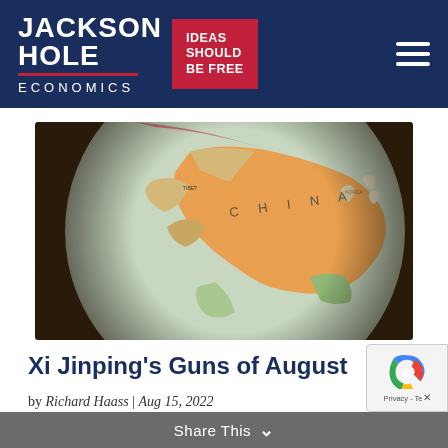[Figure (logo): Jackson Hole Economics logo with red square containing 'IDEAS SHOULD BE FREE' text, white 'JACKSON HOLE' text and 'ECONOMICS' text on dark navy background]
[Figure (photo): Close-up photograph of a globe showing China prominently labeled, with surrounding countries in various colors (orange, pink, green), blurred background]
Xi Jinping's Guns of August
by Richard Haass | Aug 15, 2022
Faced with a crippling pandemic and a